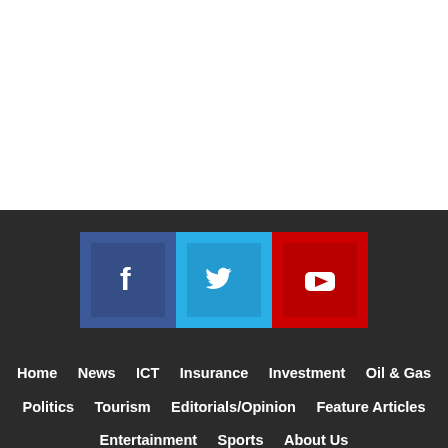[Figure (infographic): Social media icons: Facebook (blue square with f), Twitter (light blue square with bird), YouTube (red square with play button)]
Home  News  ICT  Insurance  Investment  Oil & Gas  Politics  Tourism  Editorials/Opinion  Feature Articles  Entertainment  Sports  About Us